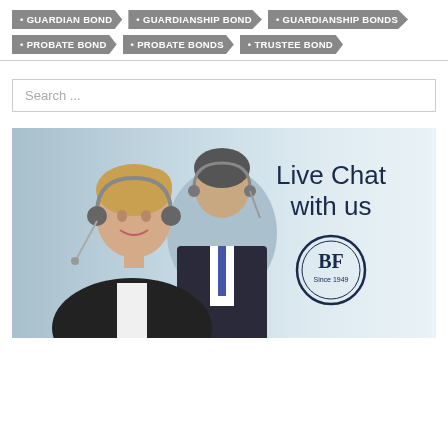GUARDIAN BOND
GUARDIANSHIP BOND
GUARDIANSHIP BONDS
PROBATE BOND
PROBATE BONDS
TRUSTEE BOND
Search ...
[Figure (photo): Live Chat with us promotional banner showing customer service representatives wearing headsets, with BF Since 1949 logo]